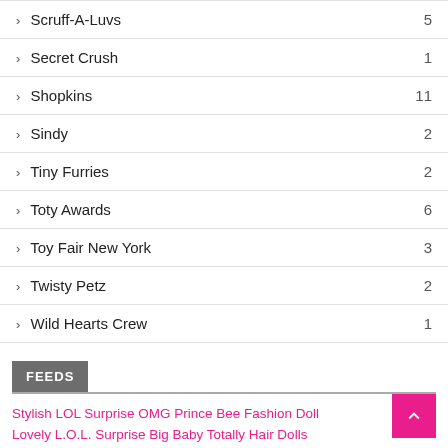Scruff-A-Luvs 5
Secret Crush 1
Shopkins 11
Sindy 2
Tiny Furries 2
Toty Awards 6
Toy Fair New York 3
Twisty Petz 2
Wild Hearts Crew 1
FEEDS
Stylish LOL Surprise OMG Prince Bee Fashion Doll
Lovely L.O.L. Surprise Big Baby Totally Hair Dolls
Adorable LOL Surprise Loves Mini Sweets Toys with Checklist
Cute LOL Surprise Tweens Babysitting Sleepover &amp; Beach Party Dolls